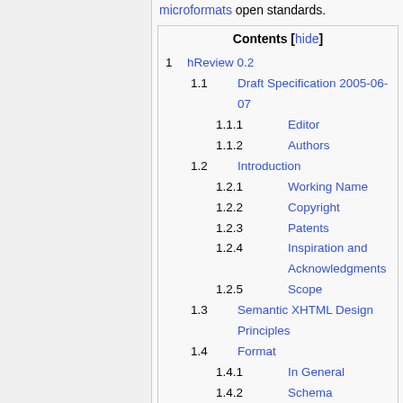microformats open standards.
Contents [hide]
1  hReview 0.2
1.1  Draft Specification 2005-06-07
1.1.1  Editor
1.1.2  Authors
1.2  Introduction
1.2.1  Working Name
1.2.2  Copyright
1.2.3  Patents
1.2.4  Inspiration and Acknowledgments
1.2.5  Scope
1.3  Semantic XHTML Design Principles
1.4  Format
1.4.1  In General
1.4.2  Schema
1.4.3  Field details
1.4.4  More Semantic